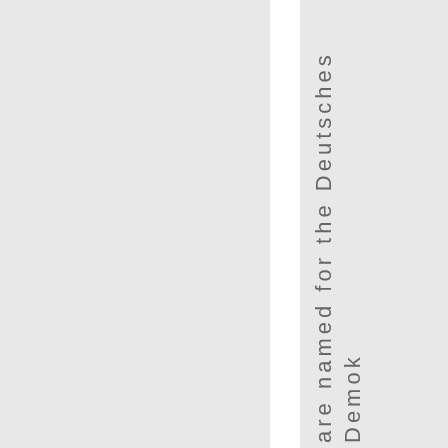are named for the Deutsches Demok